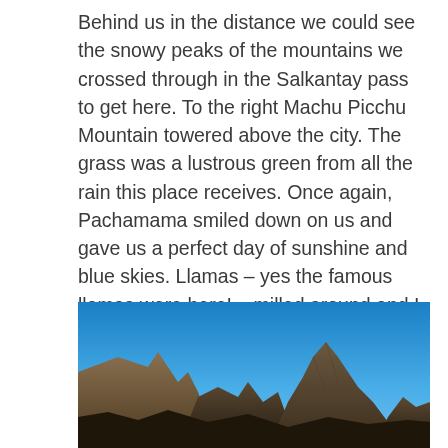Behind us in the distance we could see the snowy peaks of the mountains we crossed through in the Salkantay pass to get here. To the right Machu Picchu Mountain towered above the city. The grass was a lustrous green from all the rain this place receives. Once again, Pachamama smiled down on us and gave us a perfect day of sunshine and blue skies. Llamas – yes the famous llamas were here! – milled around and I realized how they kept the grass in check here- llama lawnmowers! The town was in exceptional condition, so perfectly preserved.
[Figure (photo): Photograph of Machu Picchu mountain peaks against a clear blue sky, with rocky terrain and ancient ruins visible in the lower portions of the image.]